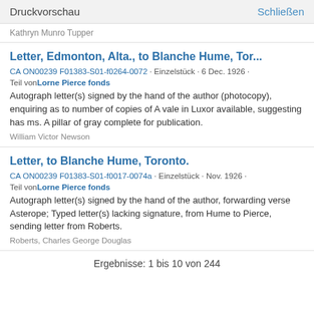Druckvorschau   Schließen
Kathryn Munro Tupper
Letter, Edmonton, Alta., to Blanche Hume, Tor...
CA ON00239 F01383-S01-f0264-0072 · Einzelstück · 6 Dec. 1926 · Teil von Lorne Pierce fonds
Autograph letter(s) signed by the hand of the author (photocopy), enquiring as to number of copies of A vale in Luxor available, suggesting has ms. A pillar of gray complete for publication.
William Victor Newson
Letter, to Blanche Hume, Toronto.
CA ON00239 F01383-S01-f0017-0074a · Einzelstück · Nov. 1926 · Teil von Lorne Pierce fonds
Autograph letter(s) signed by the hand of the author, forwarding verse Asterope; Typed letter(s) lacking signature, from Hume to Pierce, sending letter from Roberts.
Roberts, Charles George Douglas
Ergebnisse: 1 bis 10 von 244